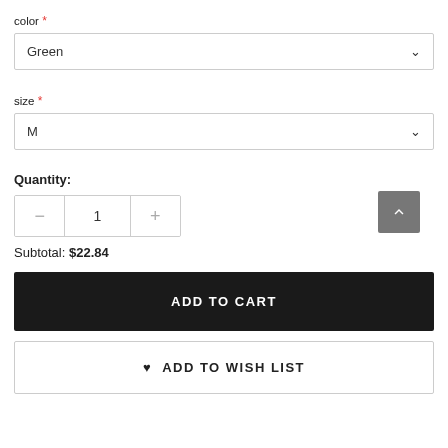color *
Green
size *
M
Quantity:
1
Subtotal: $22.84
ADD TO CART
ADD TO WISH LIST